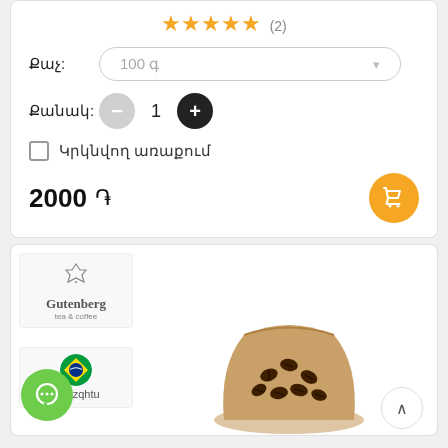★★★★★ (2)
Քաչ: 100 գ
Քանակ: - 1 +
☐ Կրկնվող առաքում
2000 ֏
[Figure (screenshot): Gutenberg tea & coffee brand logo box]
[Figure (screenshot): Brazilian flag origin box labeled in Armenian]
[Figure (photo): Coffee beans in a burlap sack]